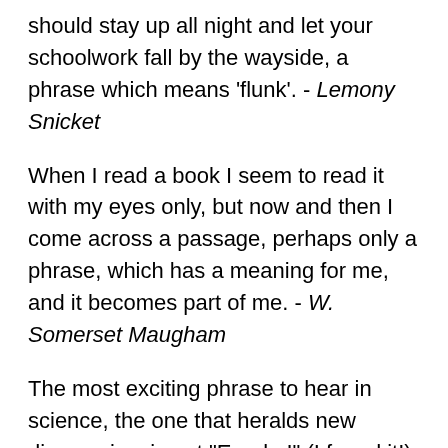should stay up all night and let your schoolwork fall by the wayside, a phrase which means 'flunk'. - Lemony Snicket
When I read a book I seem to read it with my eyes only, but now and then I come across a passage, perhaps only a phrase, which has a meaning for me, and it becomes part of me. - W. Somerset Maugham
The most exciting phrase to hear in science, the one that heralds new discoveries, is not "Eureka!" (I found it!) but "That's funny ..." - Isaac Asimov
Ideas improve. The meaning of words